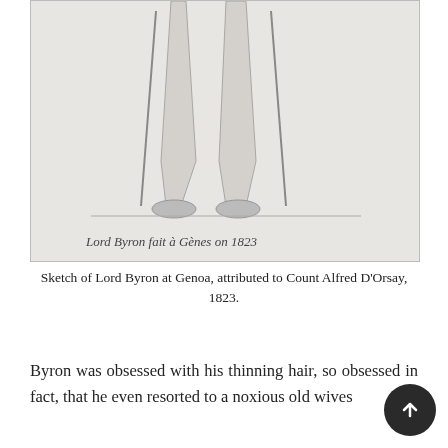[Figure (illustration): Sketch of Lord Byron's lower body (legs, feet) standing, with handwritten caption 'Lord Byron fait à Gènes on 1823' at the bottom. Pencil sketch on light background.]
Sketch of Lord Byron at Genoa, attributed to Count Alfred D'Orsay, 1823.
Byron was obsessed with his thinning hair, so obsessed in fact, that he even resorted to a noxious old wives